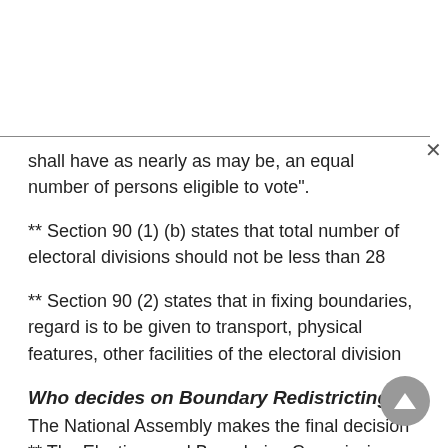shall have as nearly as may be, an equal number of persons eligible to vote".
** Section 90 (1) (b) states that total number of electoral divisions should not be less than 28
** Section 90 (2) states that in fixing boundaries, regard is to be given to transport, physical features, other facilities of the electoral division
Who decides on Boundary Redistricting?
The National Assembly makes the final decision
** The Elections and Boundaries Commission makes proposals to the National Assembly